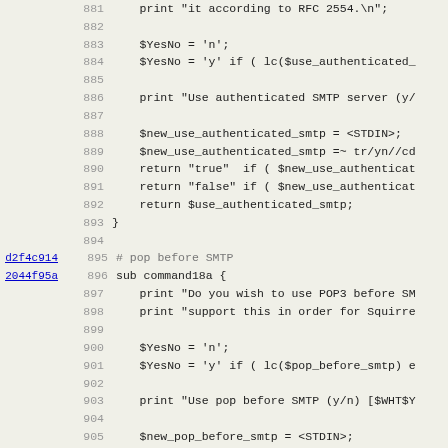Source code viewer showing Perl lines 881-913 with line numbers, commit hashes (d2f4c914, 2044f95a), and code content including SMTP authentication and POP before SMTP subroutines.